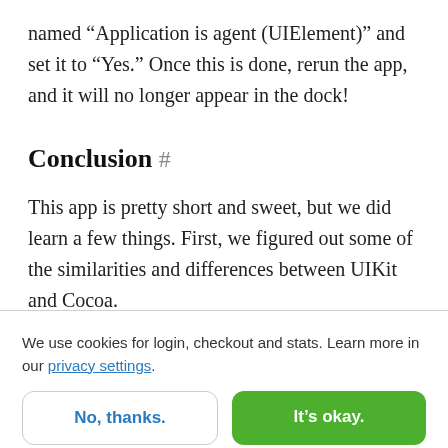named “Application is agent (UIElement)” and set it to “Yes.” Once this is done, rerun the app, and it will no longer appear in the dock!
Conclusion #
This app is pretty short and sweet, but we did learn a few things. First, we figured out some of the similarities and differences between UIKit and Cocoa.
We use cookies for login, checkout and stats. Learn more in our privacy settings.
No, thanks.
It’s okay.